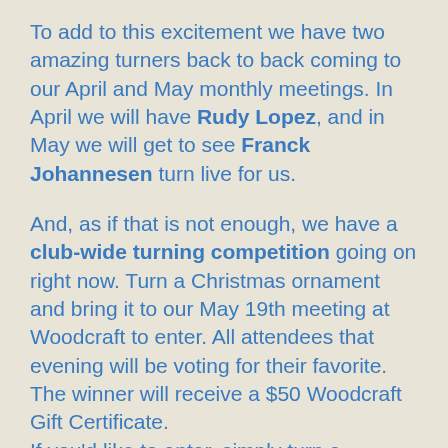To add to this excitement we have two amazing turners back to back coming to our April and May monthly meetings. In April we will have Rudy Lopez, and in May we will get to see Franck Johannesen turn live for us.
And, as if that is not enough, we have a club-wide turning competition going on right now. Turn a Christmas ornament and bring it to our May 19th meeting at Woodcraft to enter. All attendees that evening will be voting for their favorite. The winner will receive a $50 Woodcraft Gift Certificate. If you'd like to enter, simply turn a Christmas ornament, any design you'd like, and bring it in on May 19th. All enters will be collected and added to the club's contribution to the charity Christmas...